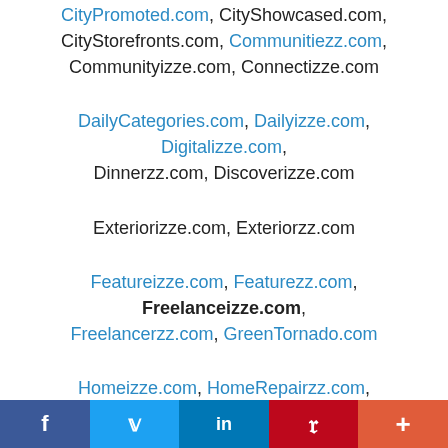CityPromoted.com, CityShowcased.com, CityStorefronts.com, Communitiezz.com, Communityizze.com, Connectizze.com
DailyCategories.com, Dailyizze.com, Digitalizze.com, Dinnerzz.com, Discoverizze.com
Exteriorizze.com, Exteriorzz.com
Featureizze.com, Featurezz.com, Freelanceizze.com, Freelancerzz.com, GreenTornado.com
Homeizze.com, HomeRepairzz.com, HomeServicezz.com, Hometownzz.com, Houseizze.com
InformationCEO.com, Informizze.com,
f  Twitter  in  Pinterest  +